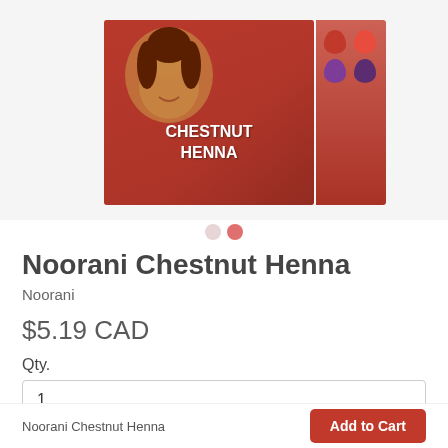[Figure (photo): Product photo of Noorani Chestnut Henna box — a red box showing a woman's face on the front and color swatches on the side, with text 'CHESTNUT HENNA']
Noorani Chestnut Henna
Noorani
$5.19 CAD
Qty.
1
Noorani Chestnut Henna
Add to Cart